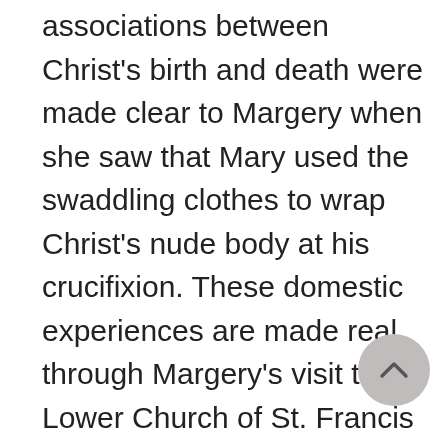associations between Christ's birth and death were made clear to Margery when she saw that Mary used the swaddling clothes to wrap Christ's nude body at his crucifixion. These domestic experiences are made real through Margery's visit to the Lower Church of St. Francis at Assisi where she saw the relic of the Virgin Mary's veil. Further ties with folk ritual practice are evident in her story of a woman traveling to Rome with two Franciscan friars. The woman placed